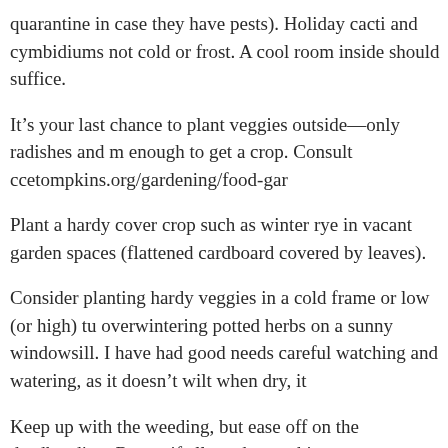quarantine in case they have pests). Holiday cacti and cymbidiums not cold or frost. A cool room inside should suffice.
It’s your last chance to plant veggies outside—only radishes and m enough to get a crop. Consult ccetompkins.org/gardening/food-gar
Plant a hardy cover crop such as winter rye in vacant garden spaces (flattened cardboard covered by leaves).
Consider planting hardy veggies in a cold frame or low (or high) tu overwintering potted herbs on a sunny windowsill. I have had good needs careful watching and watering, as it doesn’t wilt when dry, it
Keep up with the weeding, but ease off on the deadheading. Roses, if allowed to set hips.
Visit your local nurseries for great sale plants. Also, tour display ga many fall-blooming perennials besides mums! Hybrid anemones th